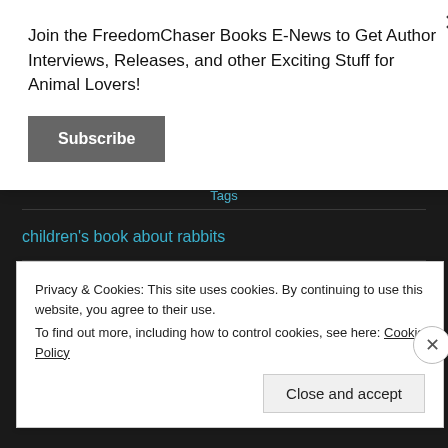Join the FreedomChaser Books E-News to Get Author Interviews, Releases, and other Exciting Stuff for Animal Lovers!
Subscribe
children's book about rabbits
children's book about rats
Privacy & Cookies: This site uses cookies. By continuing to use this website, you agree to their use.
To find out more, including how to control cookies, see here: Cookie Policy
Close and accept